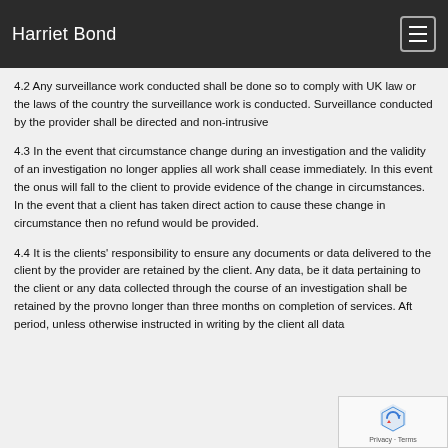Harriet Bond
4.2 Any surveillance work conducted shall be done so to comply with UK law or the laws of the country the surveillance work is conducted. Surveillance conducted by the provider shall be directed and non-intrusive
4.3 In the event that circumstance change during an investigation and the validity of an investigation no longer applies all work shall cease immediately. In this event the onus will fall to the client to provide evidence of the change in circumstances. In the event that a client has taken direct action to cause these change in circumstance then no refund would be provided.
4.4 It is the clients' responsibility to ensure any documents or data delivered to the client by the provider are retained by the client. Any data, be it data pertaining to the client or any data collected through the course of an investigation shall be retained by the prov... no longer than three months on completion of services. Aft... period, unless otherwise instructed in writing by the client all data